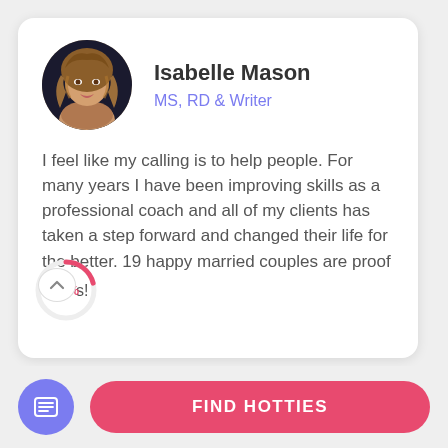[Figure (photo): Circular profile photo of Isabelle Mason, a woman with long wavy auburn/blonde hair]
Isabelle Mason
MS, RD & Writer
I feel like my calling is to help people. For many years I have been improving skills as a professional coach and all of my clients has taken a step forward and changed their life for the better. 19 happy married couples are proof of this!
[Figure (donut-chart): Partial donut/arc chart showing 46% in pink/red color]
FIND HOTTIES